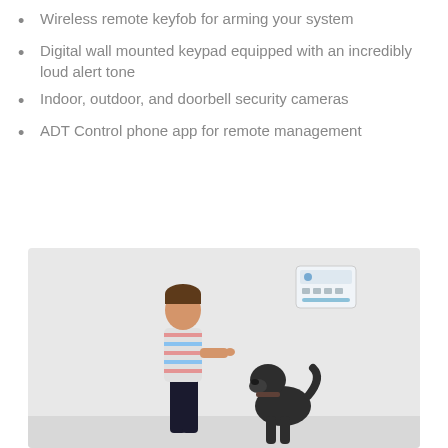Wireless remote keyfob for arming your system
Digital wall mounted keypad equipped with an incredibly loud alert tone
Indoor, outdoor, and doorbell security cameras
ADT Control phone app for remote management
[Figure (photo): A young boy in a striped long-sleeve shirt standing and gesturing with his finger toward a dark-colored dog sitting up and looking at him. On the wall behind them is a white ADT security keypad panel. The background is a plain white/light gray wall.]